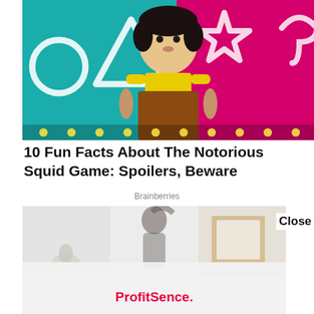[Figure (photo): Squid Game doll figure in yellow shirt and brown dress against teal and pink background with geometric shapes (circle, triangle, star, umbrella outlines) and light strip at bottom]
10 Fun Facts About The Notorious Squid Game: Spoilers, Beware
Brainberries
[Figure (photo): Advertisement banner showing a person in a room with decorative items and a framed picture; ProfitSence. branding in red text at bottom with a Close button on the right]